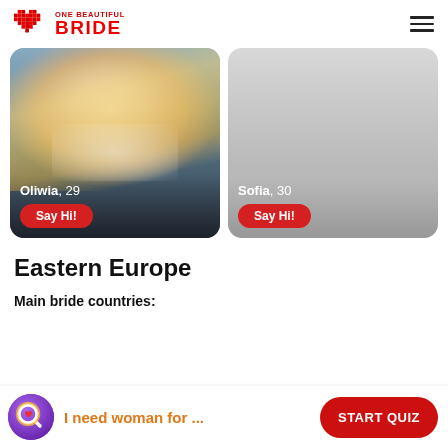[Figure (logo): One Beautiful Bride logo with pixelated heart icon in red and brand name text]
[Figure (photo): Profile card of Oliwia, 29 - blonde woman selfie with Say Hi! button]
[Figure (photo): Profile card of Sofia, 30 - gray placeholder with Say Hi! button]
Eastern Europe
Main bride countries:
[Figure (infographic): Quiz prompt widget with magnifying glass icon, text 'I need woman for ...' and START QUIZ button]